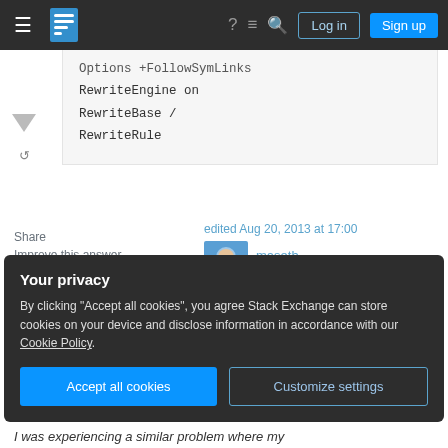Stack Exchange navigation bar with hamburger menu, logo, help, chat, search, Log in, Sign up buttons
[Figure (screenshot): Partial code block showing: Options +FollowSymLinks
RewriteEngine on
RewriteBase /
RewriteRule]
Share
Improve this answer
Follow
edited Aug 20, 2013 at 17:00
maseth
1,419 ●2 ●12 ●21
answered Aug 20, 2013 at 13:30
user53804
Your privacy
By clicking "Accept all cookies", you agree Stack Exchange can store cookies on your device and disclose information in accordance with our Cookie Policy.
Accept all cookies
Customize settings
I was experiencing a similar problem where my